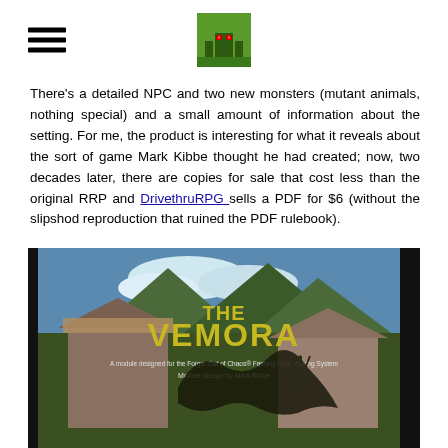[site logo and navigation]
There's a detailed NPC and two new monsters (mutant animals, nothing special) and a small amount of information about the setting. For me, the product is interesting for what it reveals about the sort of game Mark Kibbe thought he had created; now, two decades later, there are copies for sale that cost less than the original RRP and DrivethruRPG sells a PDF for $6 (without the slipshod reproduction that ruined the PDF rulebook).
[Figure (photo): Book cover image for 'The Vemora' module designed for the Forge: Out of Chaos Fantasy Role-Playing System, module design by Mark Kibbe. Shows a creature attacking a fantasy village building against a mountain/cloud backdrop.]